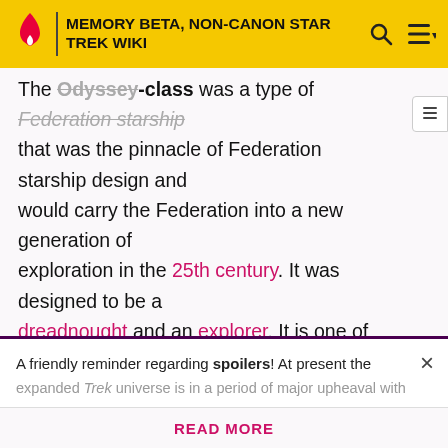MEMORY BETA, NON-CANON STAR TREK WIKI
The Odyssey-class was a type of Federation starship that was the pinnacle of Federation starship design and would carry the Federation into a new generation of exploration in the 25th century. It was designed to be a dreadnought and an explorer. It is one of the largest starships created by Starfleet, surpassing even the Galaxy-class in size. (STO video game: Star Trek Online)
A friendly reminder regarding spoilers! At present the expanded Trek universe is in a period of major upheaval with
READ MORE